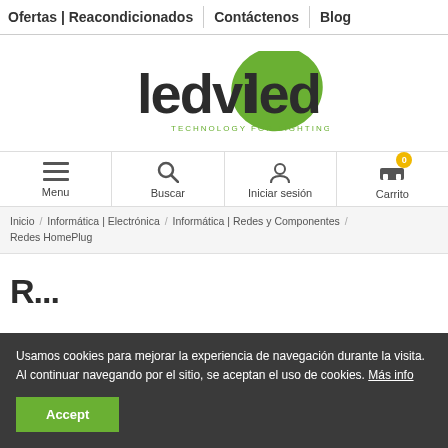Ofertas | Reacondicionados  |  Contáctenos  |  Blog
[Figure (logo): Ledviled logo with green leaf shape and text 'TECHNOLOGY FOR LIGHTING']
Menu | Buscar | Iniciar sesión | Carrito (0)
Inicio / Informática | Electrónica / Informática | Redes y Componentes / Redes HomePlug
Redes HomePlug
Usamos cookies para mejorar la experiencia de navegación durante la visita. Al continuar navegando por el sitio, se aceptan el uso de cookies. Más info
Accept